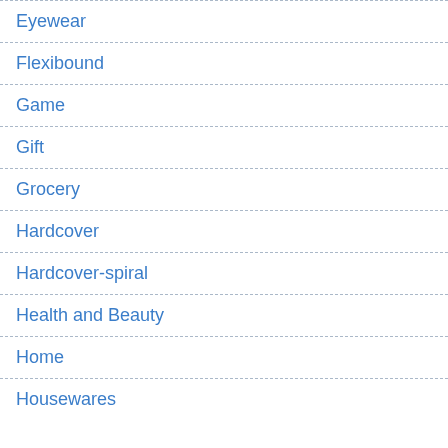Eyewear
Flexibound
Game
Gift
Grocery
Hardcover
Hardcover-spiral
Health and Beauty
Home
Housewares